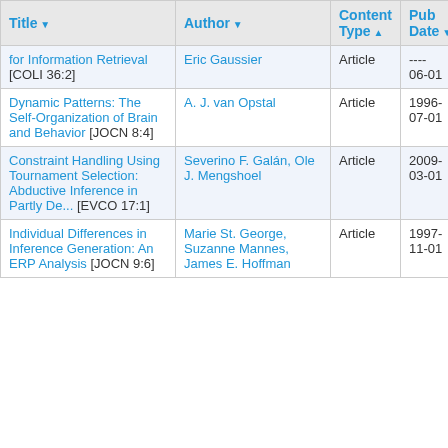| Title | Author | Content Type | Pub Date |
| --- | --- | --- | --- |
| for Information Retrieval [COLI 36:2] | Eric Gaussier | Article | ----
06-01 |
| Dynamic Patterns: The Self-Organization of Brain and Behavior [JOCN 8:4] | A. J. van Opstal | Article | 1996-07-01 |
| Constraint Handling Using Tournament Selection: Abductive Inference in Partly De... [EVCO 17:1] | Severino F. Galán, Ole J. Mengshoel | Article | 2009-03-01 |
| Individual Differences in Inference Generation: An ERP Analysis [JOCN 9:6] | Marie St. George, Suzanne Mannes, James E. Hoffman | Article | 1997-11-01 |